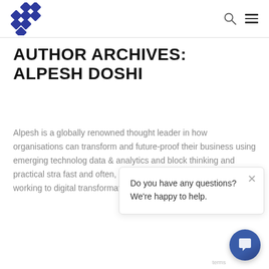Logo and navigation header
AUTHOR ARCHIVES: ALPESH DOSHI
Alpesh is a globally renowned thought leader in how organisations can transform and future-proof their business using emerging technology, data & analytics and block thinking and practical stra fast and often, introducing the agile approach of working to digital transformation.
Do you have any questions? We're happy to help.